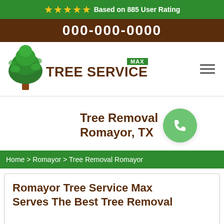★★★★★ Based on 885 User Rating
000-000-0000
[Figure (logo): Max Tree Service logo with green tree icon, brown 'TREE SERVICE' text and green 'MAX' badge]
Tree Removal Romayor, TX
Home > Romayor > Tree Removal Romayor
Romayor Tree Service Max Serves The Best Tree Removal